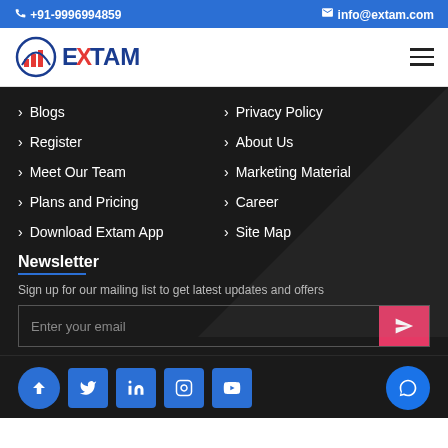+91-9996994859  info@extam.com
[Figure (logo): Extam logo with circular chart icon and stylized EXTAM text in blue and red]
> Blogs
> Privacy Policy
> Register
> About Us
> Meet Our Team
> Marketing Material
> Plans and Pricing
> Career
> Download Extam App
> Site Map
Newsletter
Sign up for our mailing list to get latest updates and offers